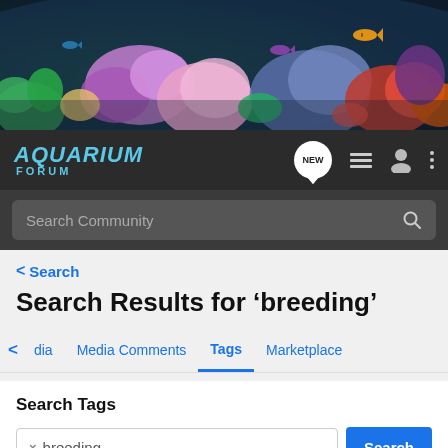[Figure (photo): Coral reef aquarium header photo with colorful corals and fish in purple, pink, green, and blue tones]
AQUARIUM FORUM — navigation bar with NEW badge, list icon, user icon, and menu icon, plus Search Community search bar
< Search
Search Results for 'breeding'
< dia   Media Comments   Tags   Marketplace
Search Tags
× breeding   Search